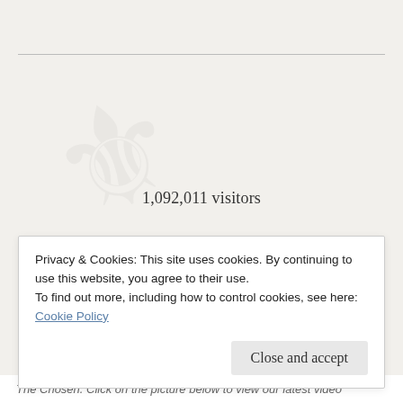1,092,011 visitors
[Figure (other): Follow Box Office Revolution WordPress follow button with count badge showing 109 followers]
FOLLOW US ON INSTAGRAM!
Privacy & Cookies: This site uses cookies. By continuing to use this website, you agree to their use.
To find out more, including how to control cookies, see here: Cookie Policy
Close and accept
The Chosen. Click on the picture below to view our latest video